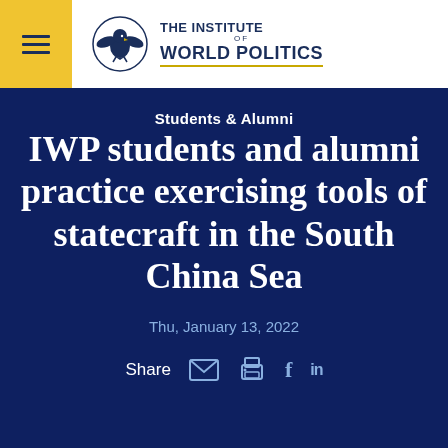The Institute of World Politics
Students & Alumni
IWP students and alumni practice exercising tools of statecraft in the South China Sea
Thu, January 13, 2022
Share